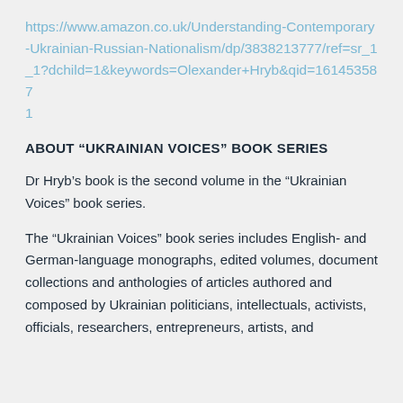https://www.amazon.co.uk/Understanding-Contemporary-Ukrainian-Russian-Nationalism/dp/3838213777/ref=sr_1_1?dchild=1&keywords=Olexander+Hryb&qid=161453587 1
ABOUT “UKRAINIAN VOICES” BOOK SERIES
Dr Hryb’s book is the second volume in the “Ukrainian Voices” book series.
The “Ukrainian Voices” book series includes English- and German-language monographs, edited volumes, document collections and anthologies of articles authored and composed by Ukrainian politicians, intellectuals, activists, officials, researchers, entrepreneurs, artists, and